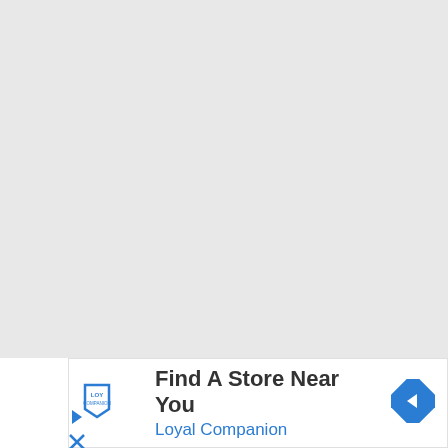[Figure (other): Gray background area filling approximately the top 80% of the page]
[Figure (infographic): Advertisement banner for Loyal Companion store locator. Contains Loyal Companion logo on left, headline 'Find A Store Near You' in bold dark text, subheading 'Loyal Companion' in blue text, and a blue diamond-shaped navigation arrow icon on the right.]